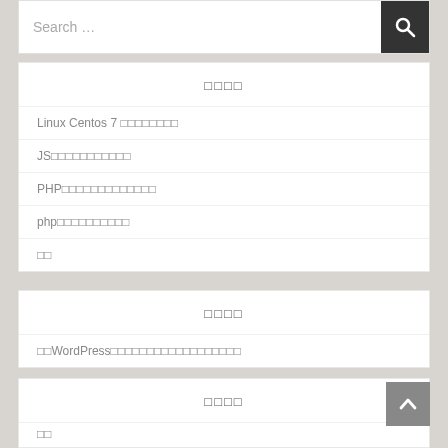Search …
□□□□
Linux Centos 7 □□□□□□□□
JS□□□□□□□□□□□
PHP□□□□□□□□□□□□□
php□□□□□□□□□□
□□
□□□□
□□WordPress□□□□□□□□□□□□□□□□□□
□□□□
□□